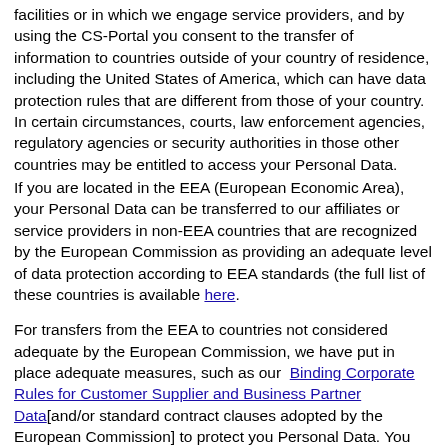facilities or in which we engage service providers, and by using the CS-Portal you consent to the transfer of information to countries outside of your country of residence, including the United States of America, which can have data protection rules that are different from those of your country. In certain circumstances, courts, law enforcement agencies, regulatory agencies or security authorities in those other countries may be entitled to access your Personal Data.
If you are located in the EEA (European Economic Area), your Personal Data can be transferred to our affiliates or service providers in non-EEA countries that are recognized by the European Commission as providing an adequate level of data protection according to EEA standards (the full list of these countries is available here).
For transfers from the EEA to countries not considered adequate by the European Commission, we have put in place adequate measures, such as our Binding Corporate Rules for Customer Supplier and Business Partner Data [and/or standard contract clauses adopted by the European Commission] to protect your Personal Data. You can obtain a copy of those measures by